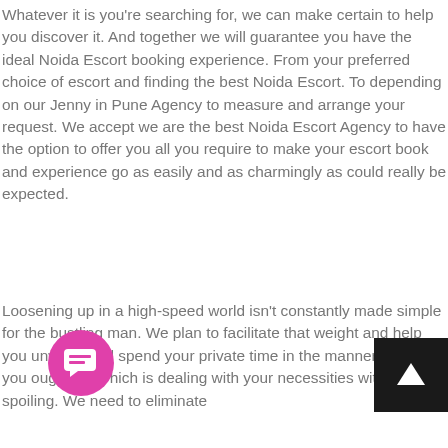Whatever it is you're searching for, we can make certain to help you discover it. And together we will guarantee you have the ideal Noida Escort booking experience. From your preferred choice of escort and finding the best Noida Escort. To depending on our Jenny in Pune Agency to measure and arrange your request. We accept we are the best Noida Escort Agency to have the option to offer you all you require to make your escort book and experience go as easily and as charmingly as could really be expected.
Loosening up in a high-speed world isn't constantly made simple for the bustling man. We plan to facilitate that weight and help you unwind, and spend your private time in the manner in which you ought to. Which is dealing with your necessities with some spoiling. We need to eliminate